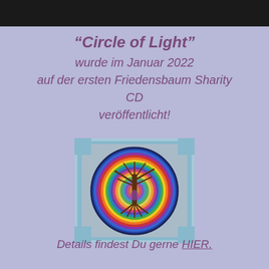[Figure (photo): Black banner/bar at top of page]
"Circle of Light" wurde im Januar 2022 auf der ersten Friedensbaum Sharity CD veröffentlicht!
[Figure (photo): Photo of a colorful tree of life artwork on a CD cover, showing a tree with outstretched branches inside concentric rainbow-colored circles on a blue background]
Details findest Du gerne HIER.